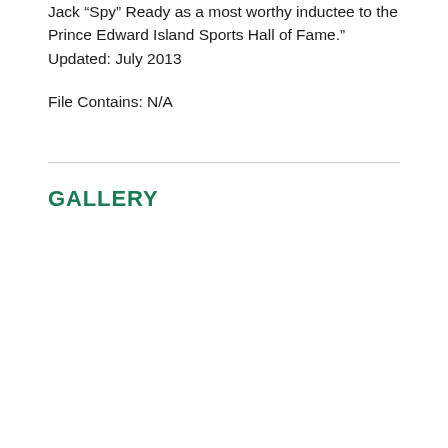Jack “Spy” Ready as a most worthy inductee to the Prince Edward Island Sports Hall of Fame.” Updated: July 2013
File Contains: N/A
GALLERY